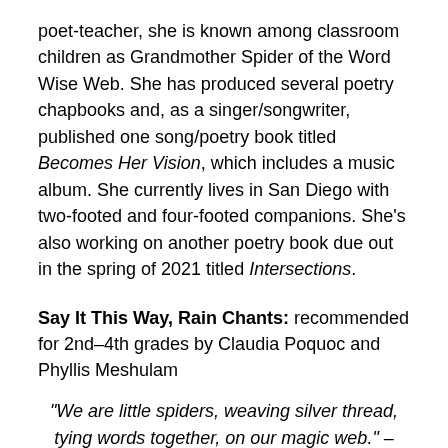poet-teacher, she is known among classroom children as Grandmother Spider of the Word Wise Web. She has produced several poetry chapbooks and, as a singer/songwriter, published one song/poetry book titled Becomes Her Vision, which includes a music album. She currently lives in San Diego with two-footed and four-footed companions. She's also working on another poetry book due out in the spring of 2021 titled Intersections.
Say It This Way, Rain Chants: recommended for 2nd–4th grades by Claudia Poquoc and Phyllis Meshulam
“We are little spiders, weaving silver thread, tying words together, on our magic web.” – Claudia Poquoc
Introduction: Writing chants meets curriculum needs, lets